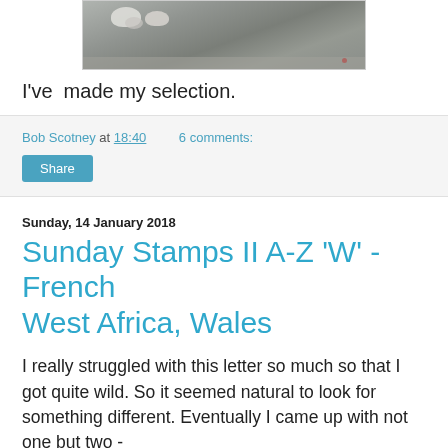[Figure (photo): Partial photo of what appears to be animals or objects on a grey stone or concrete surface, cropped at the top of the page]
I've  made my selection.
Bob Scotney at 18:40    6 comments:
Share
Sunday, 14 January 2018
Sunday Stamps II A-Z 'W' - French West Africa, Wales
I really struggled with this letter so much so that I got quite wild. So it seemed natural to look for something different. Eventually I came up with not one but two -